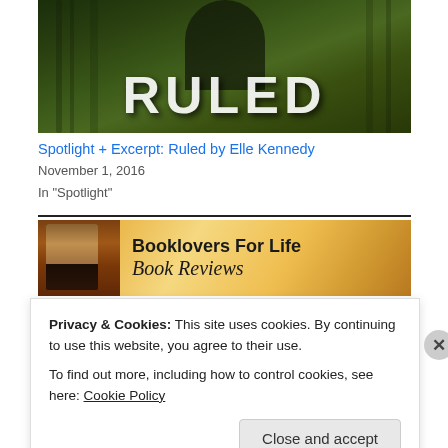[Figure (photo): Book cover of 'Ruled' by Elle Kennedy, showing a woman in dark clothing with green jungle/forest background and large white distressed text 'RULED']
Spotlight + Excerpt: Ruled by Elle Kennedy
November 1, 2016
In "Spotlight"
[Figure (photo): Banner image for 'Booklovers For Life Book Reviews' with gold/orange background, a book thumbnail on the left, and stylized text]
Privacy & Cookies: This site uses cookies. By continuing to use this website, you agree to their use.
To find out more, including how to control cookies, see here: Cookie Policy
Close and accept